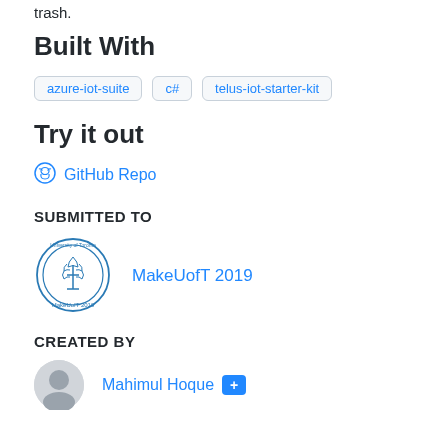trash.
Built With
azure-iot-suite
c#
telus-iot-starter-kit
Try it out
GitHub Repo
SUBMITTED TO
[Figure (logo): MakeUofT 2019 circular logo with University of Toronto crest]
MakeUofT 2019
CREATED BY
Mahimul Hoque +